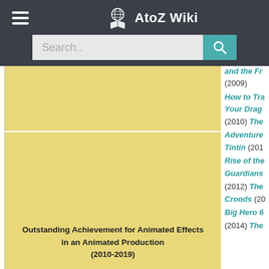AtoZ Wiki
Search..
[Figure (other): Yellow placeholder image area (top portion, above divider)]
[Figure (other): Yellow placeholder image area (main large section)]
Outstanding Achievement for Animated Effects in an Animated Production (2010-2019)
and the Fr (2009) How to Tra Your Drag (2010) The Adventure Tintin (201 Rise of the Guardians (2012) The Croods (20 Big Hero 6 (2014) The